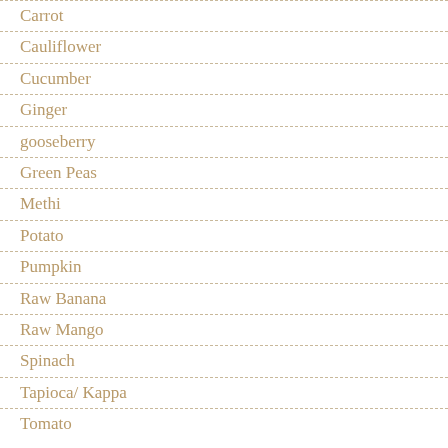Carrot
Cauliflower
Cucumber
Ginger
gooseberry
Green Peas
Methi
Potato
Pumpkin
Raw Banana
Raw Mango
Spinach
Tapioca/ Kappa
Tomato